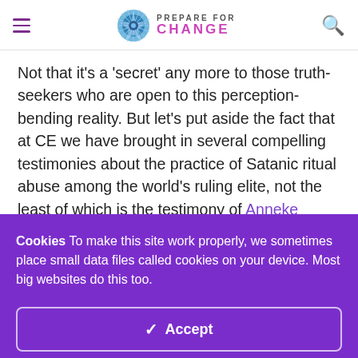PREPARE FOR CHANGE
Not that it’s a ‘secret’ any more to those truth-seekers who are open to this perception-bending reality. But let’s put aside the fact that at CE we have brought in several compelling testimonies about the practice of Satanic ritual abuse among the world’s ruling elite, not the least of which is the testimony of Anneke Lucas that is described in the article
Cookies To make this site work properly, we sometimes place small data files called cookies on your device. Most big websites do this too.
✓ Accept
Change Settings ⚙